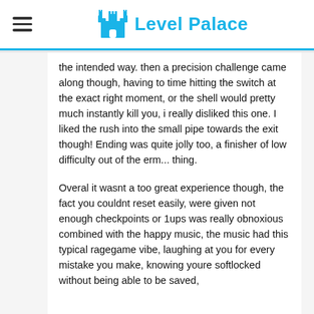Level Palace
the intended way. then a precision challenge came along though, having to time hitting the switch at the exact right moment, or the shell would pretty much instantly kill you, i really disliked this one. I liked the rush into the small pipe towards the exit though! Ending was quite jolly too, a finisher of low difficulty out of the erm... thing.
Overal it wasnt a too great experience though, the fact you couldnt reset easily, were given not enough checkpoints or 1ups was really obnoxious combined with the happy music, the music had this typical ragegame vibe, laughing at you for every mistake you make, knowing youre softlocked without being able to be saved,